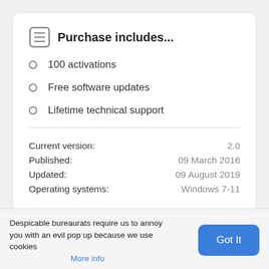Purchase includes...
100 activations
Free software updates
Lifetime technical support
|  |  |
| --- | --- |
| Current version: | 2.0 |
| Published: | 09 March 2016 |
| Updated: | 09 August 2019 |
| Operating systems: | Windows 7-11 |
Lopez Efficiency 2.0
Despicable bureaurats require us to annoy you with an evil pop up because we use cookies
More info